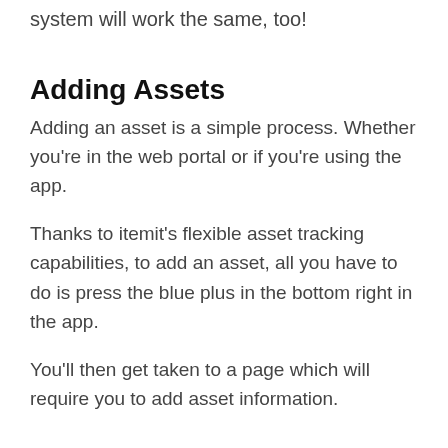but the ability to use GPS asset tags, the system will work the same, too!
Adding Assets
Adding an asset is a simple process. Whether you're in the web portal or if you're using the app.
Thanks to itemit's flexible asset tracking capabilities, to add an asset, all you have to do is press the blue plus in the bottom right in the app.
You'll then get taken to a page which will require you to add asset information.